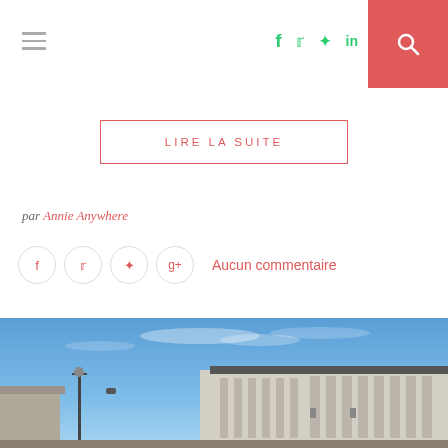Navigation header with hamburger menu, social icons (f, twitter, pinterest, in), and search button
LIRE LA SUITE
par Annie Anywhere
Aucun commentaire
[Figure (photo): Outdoor photo of a large neoclassical building under a blue sky with light clouds. A street lamp is visible on the left side.]